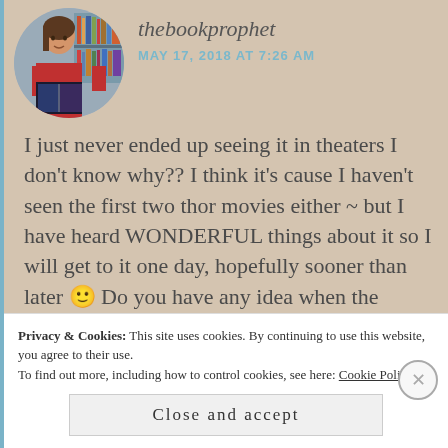[Figure (photo): Circular avatar photo of a person reading a book, with bookshelves in background]
thebookprophet
MAY 17, 2018 AT 7:26 AM
I just never ended up seeing it in theaters I don't know why?? I think it's cause I haven't seen the first two thor movies either ~ but I have heard WONDERFUL things about it so I will get to it one day, hopefully sooner than later 🙂 Do you have any idea when the sequel will be released?? BECAUSE I NEED MOREEEE. Haha I don't even know my thoughts on Infinity War to be honest – I'm going to have to bask in my thoughts for a bit
Privacy & Cookies: This site uses cookies. By continuing to use this website, you agree to their use. To find out more, including how to control cookies, see here: Cookie Policy
Close and accept